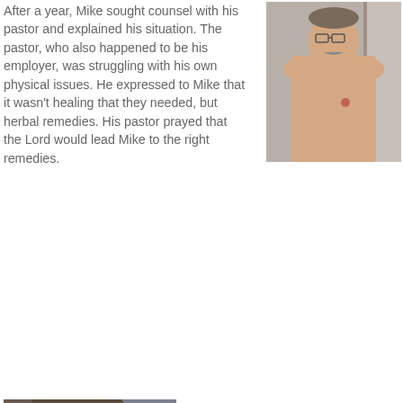After a year, Mike sought counsel with his pastor and explained his situation. The pastor, who also happened to be his employer, was struggling with his own physical issues. He expressed to Mike that it wasn't healing that they needed, but herbal remedies. His pastor prayed that the Lord would lead Mike to the right remedies.
[Figure (photo): Photo of a shirtless man with glasses standing in front of a door, with a visible sore/mark on his chest.]
[Figure (photo): Close-up photo of a man's face, appears to be the same person, darker indoor background.]
The sore continued to worsen, and it began to grow. Mike's pastor suggested that he visit a doctor for a diagnosis so that they could pray more specifically...
We use cookies on our website to give you the most relevant experience by remembering your preferences and repeat visits. By clicking "Accept All", you consent to the use of ALL the cookies. However, you may visit "Cookie Settings" to provide a controlled consent.